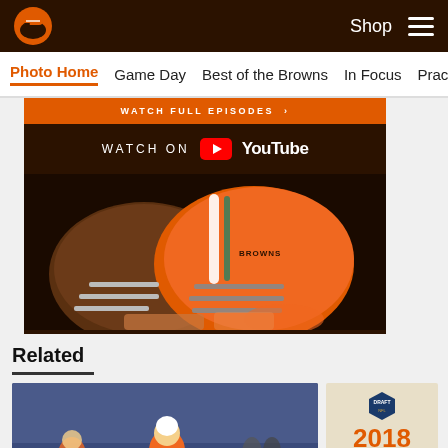Cleveland Browns navigation bar with logo, Shop link, and hamburger menu
Photo Home | Game Day | Best of the Browns | In Focus | Practice
[Figure (screenshot): Cleveland Browns YouTube 'Watch Full Episodes' promotional banner with orange top band, 'WATCH ON YouTube' text, and Cleveland Browns orange helmets photo below]
Related
[Figure (photo): Football player in Tennessee orange uniform (#29) running with the ball during a game]
[Figure (other): 2018 Draft Class promotional card with NFL Draft shield logo on beige background]